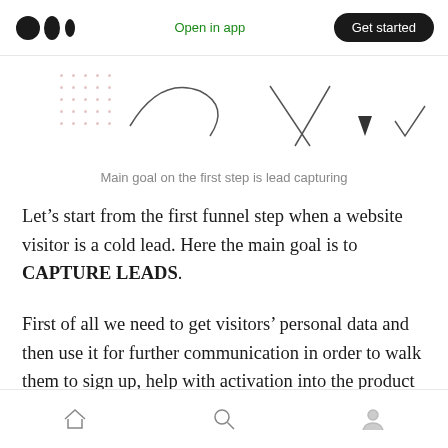Open in app | Get started
[Figure (illustration): Partial funnel/wavy diagram illustration showing dotted grid and abstract line shapes representing a marketing funnel step]
Main goal on the first step is lead capturing
Let’s start from the first funnel step when a website visitor is a cold lead. Here the main goal is to CAPTURE LEADS.
First of all we need to get visitors’ personal data and then use it for further communication in order to walk them to sign up, help with activation into the product and educate later on.
Home | Search | Profile